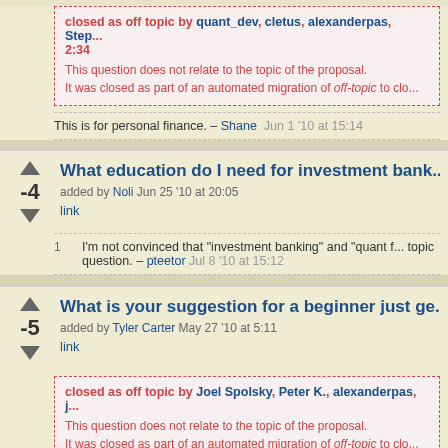closed as off topic by quant_dev, cletus, alexanderpas, Step... 2:34
This question does not relate to the topic of the proposal. It was closed as part of an automated migration of off-topic to clo...
This is for personal finance. – Shane  Jun 1 '10 at 15:14
What education do I need for investment bank...
added by Noli Jun 25 '10 at 20:05
link
1  I'm not convinced that "investment banking" and "quant f... topic question. – pteetor  Jul 8 '10 at 15:12
What is your suggestion for a beginner just ge...
added by Tyler Carter  May 27 '10 at 5:11
link
closed as off topic by Joel Spolsky, Peter K., alexanderpas, j...
This question does not relate to the topic of the proposal. It was closed as part of an automated migration of off-topic to clo...